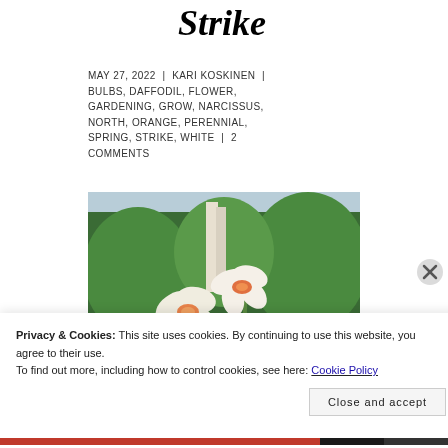Strike
MAY 27, 2022 | KARI KOSKINEN | BULBS, DAFFODIL, FLOWER, GARDENING, GROW, NARCISSUS, NORTH, ORANGE, PERENNIAL, SPRING, STRIKE, WHITE | 2 COMMENTS
[Figure (photo): Two white and orange daffodil (narcissus) flowers in a garden setting with green shrubs and birch trees in the background]
Privacy & Cookies: This site uses cookies. By continuing to use this website, you agree to their use.
To find out more, including how to control cookies, see here: Cookie Policy
Close and accept